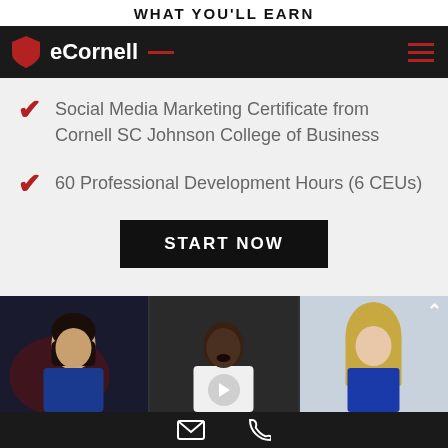WHAT YOU'LL EARN
eCornell
Social Media Marketing Certificate from Cornell SC Johnson College of Business
60 Professional Development Hours (6 CEUs)
START NOW
[Figure (photo): Three instructors shown in video thumbnails: a woman with dark hair in blue blazer, a man in white shirt, and a woman with blonde hair in blue top]
Email and phone contact icons